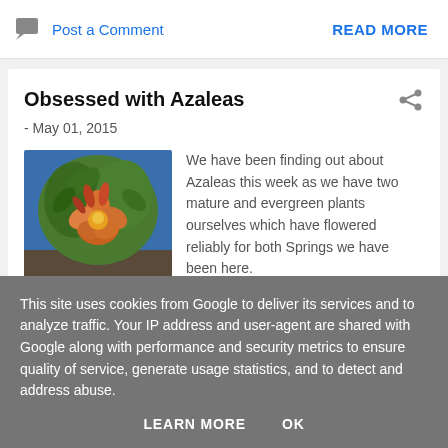Post a Comment
READ MORE
Obsessed with Azaleas
- May 01, 2015
[Figure (photo): Photo of azalea plant with orange/red flowers and green leaves against a blue background]
We have been finding out about Azaleas this week as we have two mature and evergreen plants ourselves which have flowered reliably for both Springs we have been here.
This site uses cookies from Google to deliver its services and to analyze traffic. Your IP address and user-agent are shared with Google along with performance and security metrics to ensure quality of service, generate usage statistics, and to detect and address abuse.
LEARN MORE
OK